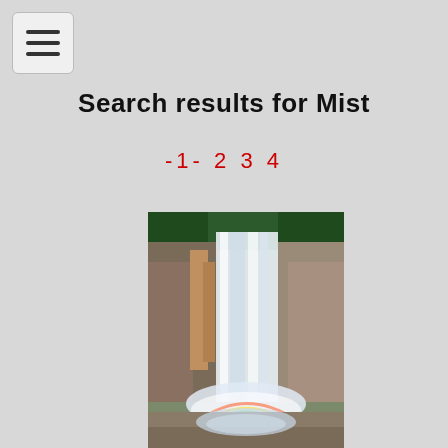[Figure (other): Hamburger menu button icon with three horizontal lines]
Search results for Mist
-1- 2 3 4
[Figure (photo): A tall waterfall cascading down rocky cliffs surrounded by forest, with a rainbow visible at the base]